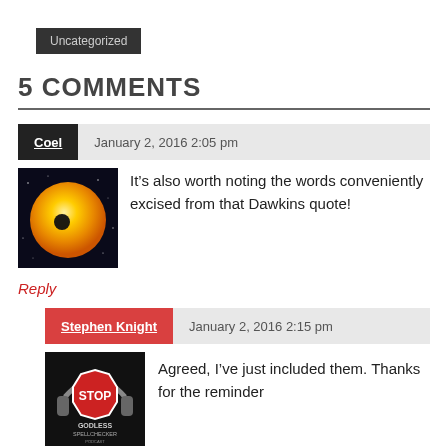Uncategorized
5 COMMENTS
Coel  January 2, 2016 2:05 pm
It’s also worth noting the words conveniently excised from that Dawkins quote!
Reply
Stephen Knight  January 2, 2016 2:15 pm
Agreed, I’ve just included them. Thanks for the reminder